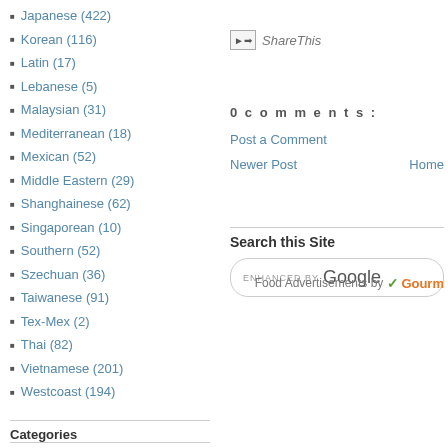Japanese (422)
Korean (116)
Latin (17)
Lebanese (5)
Malaysian (31)
Mediterranean (18)
Mexican (52)
Middle Eastern (29)
Shanghainese (62)
Singaporean (10)
Southern (52)
Szechuan (36)
Taiwanese (91)
Tex-Mex (2)
Thai (82)
Vietnamese (201)
Westcoast (194)
Categories
All-You-Can-Eat (132)
ShareThis
0 comments:
Post a Comment
Newer Post
Home
Search this Site
ENHANCED BY Google
Food Advertisements by Gourm